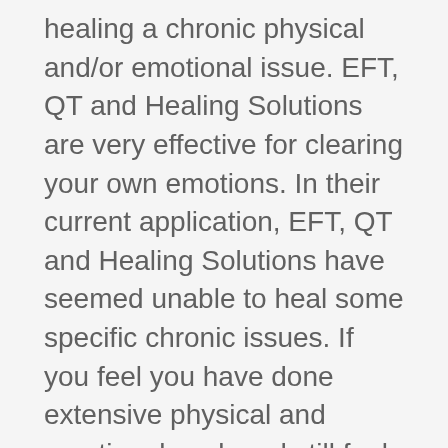healing a chronic physical and/or emotional issue. EFT, QT and Healing Solutions are very effective for clearing your own emotions. In their current application, EFT, QT and Healing Solutions have seemed unable to heal some specific chronic issues. If you feel you have done extensive physical and emotional work and still feel "stuck", this teleclinic is for you. Consider that many emotions and thoughts that you experience do not belong to you or were not your creation in the first place. In this teleclinic you learn more about our new successful technique for clearing these fields so that you may be free of them once and for all! We give you a step by step outline of how to clear frozen emotions. Demonstrations are